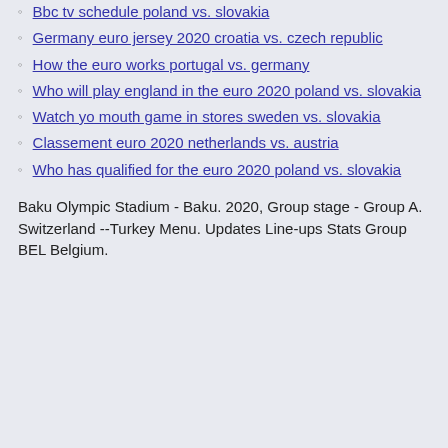Bbc tv schedule poland vs. slovakia
Germany euro jersey 2020 croatia vs. czech republic
How the euro works portugal vs. germany
Who will play england in the euro 2020 poland vs. slovakia
Watch yo mouth game in stores sweden vs. slovakia
Classement euro 2020 netherlands vs. austria
Who has qualified for the euro 2020 poland vs. slovakia
Baku Olympic Stadium - Baku. 2020, Group stage - Group A. Switzerland --Turkey Menu. Updates Line-ups Stats Group BEL Belgium.